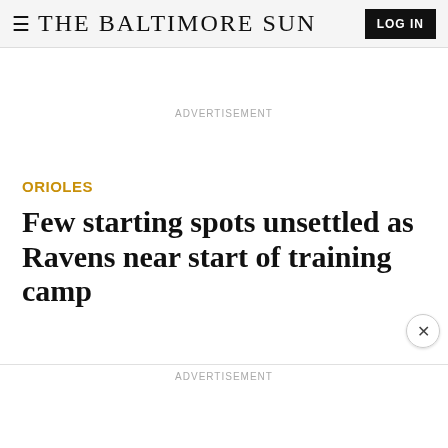≡ THE BALTIMORE SUN  LOG IN
ADVERTISEMENT
ORIOLES
Few starting spots unsettled as Ravens near start of training camp
ADVERTISEMENT